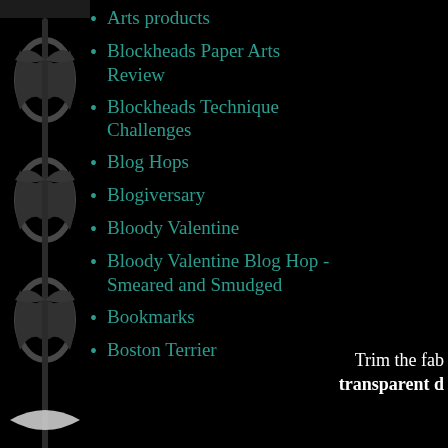Arts products
Blockheads Paper Arts Review
Blockheads Technique Challenges
Blog Hops
Blogiversary
Bloody Valentine
Bloody Valentine Blog Hop - Smeared and Smudged
Bookmarks
Boston Terrier
Trim the fab transparent d